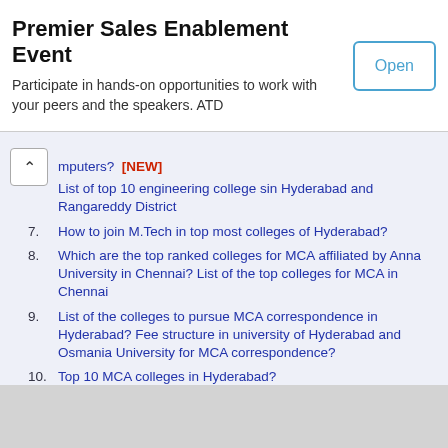Premier Sales Enablement Event
Participate in hands-on opportunities to work with your peers and the speakers. ATD
List of top 10 engineering college sin Hyderabad and Rangareddy District [partial, with NEW marker]
7. How to join M.Tech in top most colleges of Hyderabad?
8. Which are the top ranked colleges for MCA affiliated by Anna University in Chennai? List of the top colleges for MCA in Chennai
9. List of the colleges to pursue MCA correspondence in Hyderabad? Fee structure in university of Hyderabad and Osmania University for MCA correspondence?
10. Top 10 MCA colleges in Hyderabad?